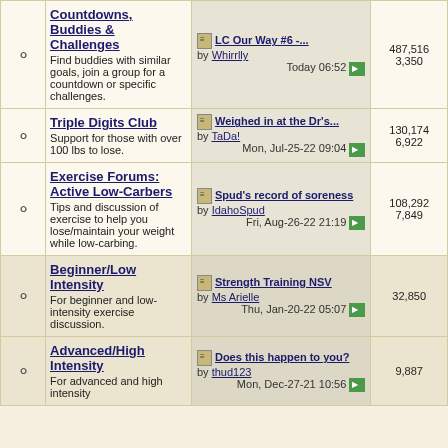Countdowns, Buddies & Challenges - Find buddies with similar goals, join a group for a countdown or specific challenges. Last post: LC Our Way #6 -... by Whirrlly, Today 06:52. Stats: 487,516 / 3,350
Triple Digits Club - Support for those with over 100 lbs to lose. Last post: Weighed in at the Dr's... by TaDa!, Mon, Jul-25-22 09:04. Stats: 130,174 / 6,922
Exercise Forums: Active Low-Carbers - Tips and discussion of exercise to help you lose/maintain your weight while low-carbing. Last post: Spud's record of soreness by IdahoSpud, Fri, Aug-26-22 21:19. Stats: 108,292 / 7,849
Beginner/Low Intensity - For beginner and low-intensity exercise discussion. Last post: Strength Training NSV by Ms Arielle, Thu, Jan-20-22 05:07. Stats: 32,850
Advanced/High Intensity - For advanced and high intensity. Last post: Does this happen to you? by thud123, Mon, Dec-27-21 10:56. Stats: 9,887